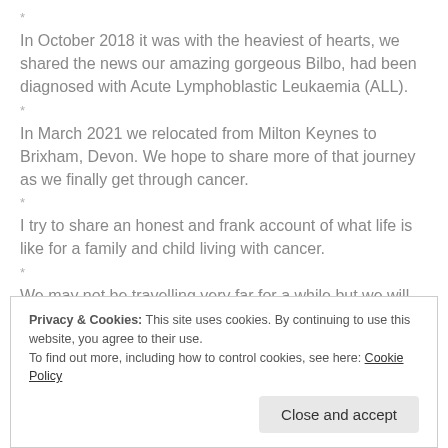*
In October 2018 it was with the heaviest of hearts, we shared the news our amazing gorgeous Bilbo, had been diagnosed with Acute Lymphoblastic Leukaemia (ALL).
*
In March 2021 we relocated from Milton Keynes to Brixham, Devon. We hope to share more of that journey as we finally get through cancer.
*
I try to share an honest and frank account of what life is like for a family and child living with cancer.
*
We may not be travelling very far for a while but we will continue to
Privacy & Cookies: This site uses cookies. By continuing to use this website, you agree to their use.
To find out more, including how to control cookies, see here: Cookie Policy
Close and accept